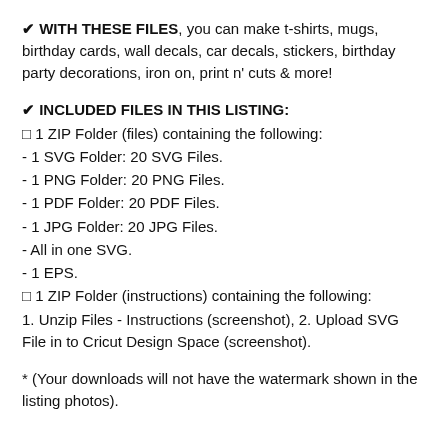✔ WITH THESE FILES, you can make t-shirts, mugs, birthday cards, wall decals, car decals, stickers, birthday party decorations, iron on, print n' cuts & more!
✔ INCLUDED FILES IN THIS LISTING:
⁯ 1 ZIP Folder (files) containing the following:
- 1 SVG Folder: 20 SVG Files.
- 1 PNG Folder: 20 PNG Files.
- 1 PDF Folder: 20 PDF Files.
- 1 JPG Folder: 20 JPG Files.
- All in one SVG.
- 1 EPS.
⁯ 1 ZIP Folder (instructions) containing the following:
1. Unzip Files - Instructions (screenshot), 2. Upload SVG File in to Cricut Design Space (screenshot).
* (Your downloads will not have the watermark shown in the listing photos).